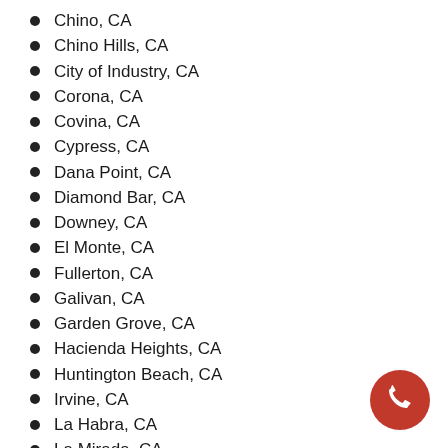Chino, CA
Chino Hills, CA
City of Industry, CA
Corona, CA
Covina, CA
Cypress, CA
Dana Point, CA
Diamond Bar, CA
Downey, CA
El Monte, CA
Fullerton, CA
Galivan, CA
Garden Grove, CA
Hacienda Heights, CA
Huntington Beach, CA
Irvine, CA
La Habra, CA
La Mirada, CA
Ladera Ranch, CA
Laguna Beach, CA
Laguna Niguel, CA
Laguna Woods, CA